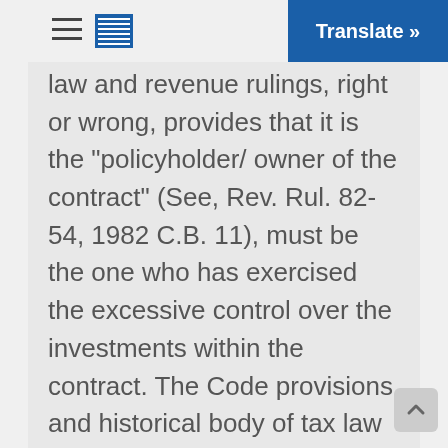Translate »
law and revenue rulings, right or wrong, provides that it is the “policyholder/ owner of the contract” (See, Rev. Rul. 82-54, 1982 C.B. 11), must be the one who has exercised the excessive control over the investments within the contract. The Code provisions and historical body of tax law which govern the tax treatment of life insurance policies and annuity contracts provides in pertinent part as follows in a